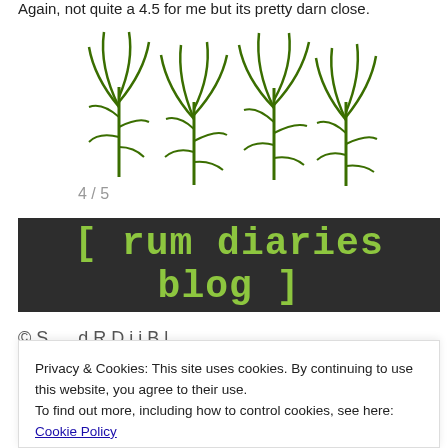Again, not quite a 4.5 for me but its pretty darn close.
[Figure (illustration): Four green sugarcane plant illustrations arranged in a row, representing a 4 out of 5 rating]
4 / 5
[Figure (logo): Rum Diaries Blog banner — dark background with green bracketed text: [ rum diaries blog ]]
Privacy & Cookies: This site uses cookies. By continuing to use this website, you agree to their use.
To find out more, including how to control cookies, see here: Cookie Policy
Close and accept